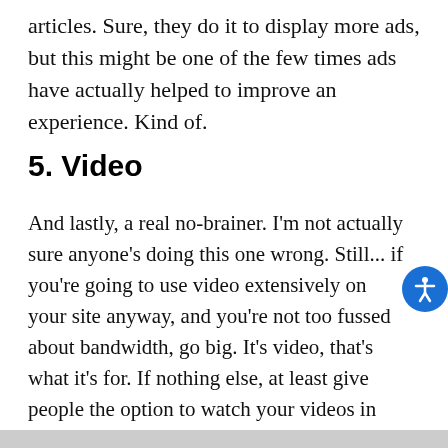articles. Sure, they do it to display more ads, but this might be one of the few times ads have actually helped to improve an experience. Kind of.
5. Video
And lastly, a real no-brainer. I'm not actually sure anyone's doing this one wrong. Still... if you're going to use video extensively on your site anyway, and you're not too fussed about bandwidth, go big. It's video, that's what it's for. If nothing else, at least give people the option to watch your videos in full-screen mode. For examples of this tip in action, see just about any filmmaker's site. Here's one: +Ring.